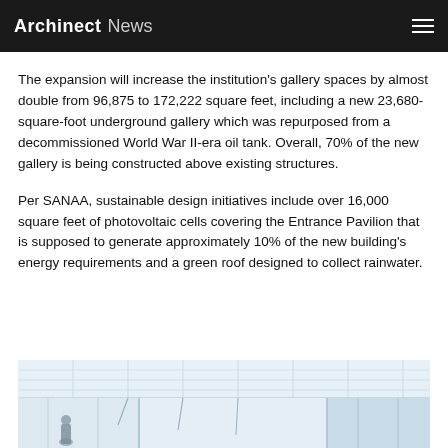Archinect News
The expansion will increase the institution's gallery spaces by almost double from 96,875 to 172,222 square feet, including a new 23,680-square-foot underground gallery which was repurposed from a decommissioned World War II-era oil tank. Overall, 70% of the new gallery is being constructed above existing structures.
Per SANAA, sustainable design initiatives include over 16,000 square feet of photovoltaic cells covering the Entrance Pavilion that is supposed to generate approximately 10% of the new building's energy requirements and a green roof designed to collect rainwater.
[Figure (photo): Interior view of a bright gallery space with white translucent ceiling panels and structural supports; a person is visible in the lower left area.]